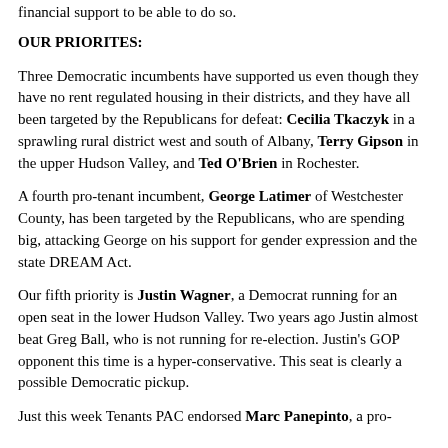financial support to be able to do so.
OUR PRIORITES:
Three Democratic incumbents have supported us even though they have no rent regulated housing in their districts, and they have all been targeted by the Republicans for defeat: Cecilia Tkaczyk in a sprawling rural district west and south of Albany, Terry Gipson in the upper Hudson Valley, and Ted O’Brien in Rochester.
A fourth pro-tenant incumbent, George Latimer of Westchester County, has been targeted by the Republicans, who are spending big, attacking George on his support for gender expression and the state DREAM Act.
Our fifth priority is Justin Wagner, a Democrat running for an open seat in the lower Hudson Valley. Two years ago Justin almost beat Greg Ball, who is not running for re-election. Justin’s GOP opponent this time is a hyper-conservative. This seat is clearly a possible Democratic pickup.
Just this week Tenants PAC endorsed Marc Panepinto, a pro-